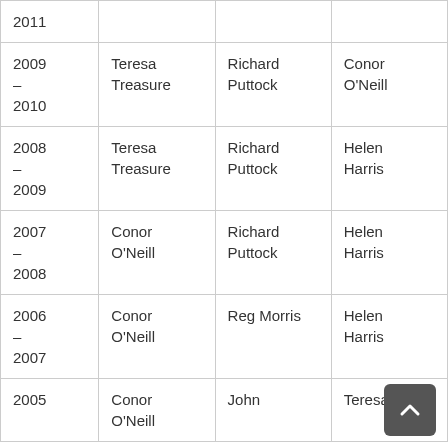| 2011 |  |  |  |  |
| 2009 – 2010 | Teresa Treasure | Richard Puttock | Conor O'Neill | Robin Wilson |
| 2008 – 2009 | Teresa Treasure | Richard Puttock | Helen Harris | Robin Wilson |
| 2007 – 2008 | Conor O'Neill | Richard Puttock | Helen Harris | Robin Wilson |
| 2006 – 2007 | Conor O'Neill | Reg Morris | Helen Harris | Robin Wilson |
| 2005 | Conor O'Neill | John ... | Teresa ... | G... |